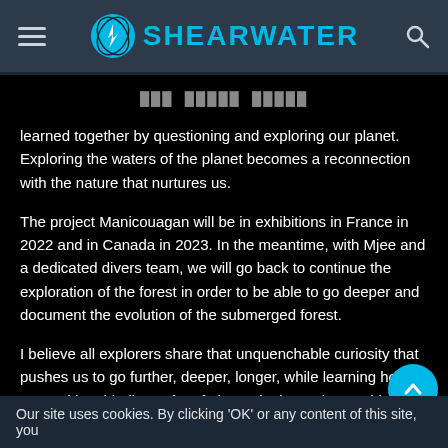[Figure (logo): Shearwater logo with circular cyan icon (lightning bolt on globe) and SHEARWATER text in cyan, on dark header bar with hamburger menu left and search icon right]
🔲  🔲🔲🔲  🔲🔲🔲🔲
learned together by questioning and exploring our planet. Exploring the waters of the planet becomes a reconnection with the nature that nurtures us.
The project Manicouagan will be in exhibitions in France in 2022 and in Canada in 2023. In the meantime, with Mjee and a dedicated divers team, we will go back to continue the exploration of the forest in order to be able to go deeper and document the evolution of the submerged forest.
I believe all explorers share that unquenchable curiosity that pushes us to go further, deeper, longer, while learning how to cope with cold, discomfort, fatigue, doubt, and everything else that makes us keep going again and again. There must be something so enjoyable about it and there must be that moment
Our site uses cookies. By clicking 'OK' or any content of this site, you